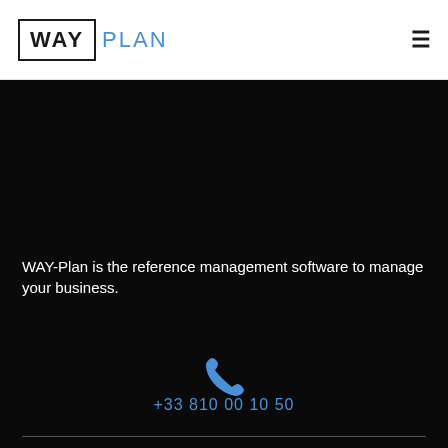[Figure (logo): WAY-Plan logo: WAY in a black border box, PLAN in blue text next to it]
WAY-Plan is the reference management software to manage your business.
[Figure (illustration): Blue telephone/phone handset icon]
+33 810 00 10 50
Language :  En  Fr  Th